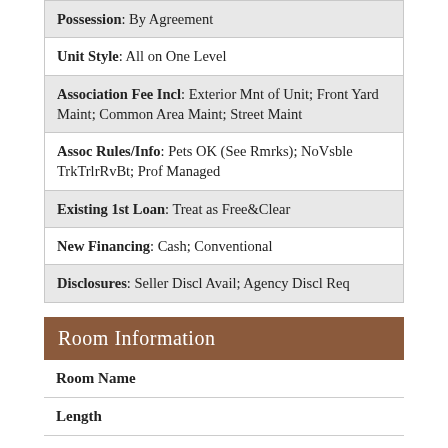| Possession: By Agreement |
| Unit Style: All on One Level |
| Association Fee Incl: Exterior Mnt of Unit; Front Yard Maint; Common Area Maint; Street Maint |
| Assoc Rules/Info: Pets OK (See Rmrks); NoVsble TrkTrlrRvBt; Prof Managed |
| Existing 1st Loan: Treat as Free&Clear |
| New Financing: Cash; Conventional |
| Disclosures: Seller Discl Avail; Agency Discl Req |
Room Information
| Room Name | Length | Length |
| --- | --- | --- |